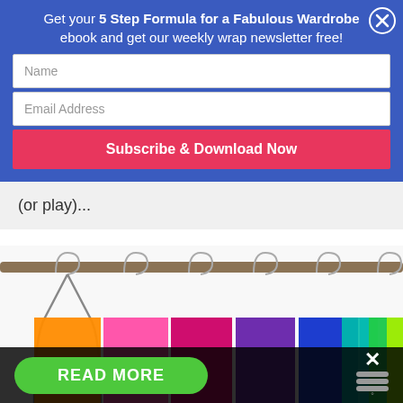Get your 5 Step Formula for a Fabulous Wardrobe ebook and get our weekly wrap newsletter free!
Name
Email Address
Subscribe & Download Now
(or play)...
[Figure (photo): Colorful clothes hangers on a rack — orange, pink, magenta, purple, blue, cobalt, sky blue, teal, green, lime green — photographed from below against a white background.]
READ MORE